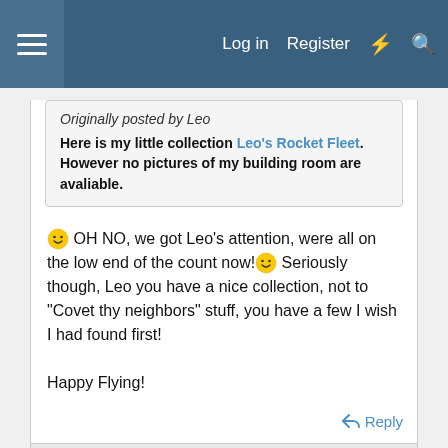Log in  Register
Originally posted by Leo
Here is my little collection Leo's Rocket Fleet. However no pictures of my building room are avaliable.
🙂 OH NO, we got Leo's attention, were all on the low end of the count now!🙂 Seriously though, Leo you have a nice collection, not to "Covet thy neighbors" stuff, you have a few I wish I had found first!

Happy Flying!
Reply